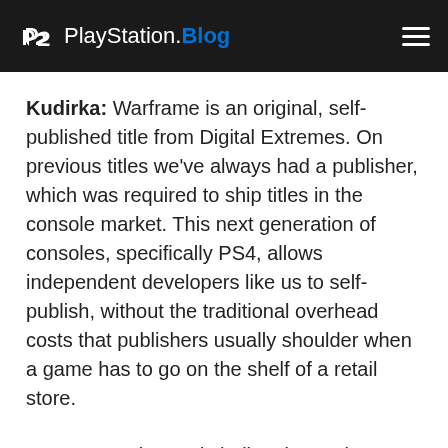PlayStation.Blog
Kudirka: Warframe is an original, self-published title from Digital Extremes. On previous titles we've always had a publisher, which was required to ship titles in the console market. This next generation of consoles, specifically PS4, allows independent developers like us to self-publish, without the traditional overhead costs that publishers usually shoulder when a game has to go on the shelf of a retail store.
It's empowering and challenging at the same time. By bringing Warframe to PS4, we get to tap into the console market and share our awesome space ninja